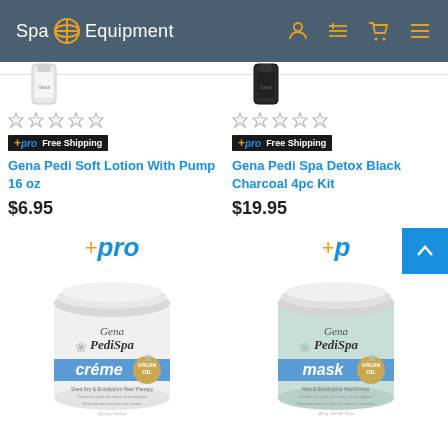[Figure (logo): Spa & Equipment logo with globe icon in site header]
[Figure (screenshot): Product listing: Gena Pedi Soft Lotion With Pump 16 oz, $6.95, pro free shipping badge, 5 empty stars]
[Figure (screenshot): Product listing: Gena Pedi Spa Detox Black Charcoal 4pc Kit, $19.95, pro free shipping badge, 5 empty stars]
[Figure (photo): Gena PediSpa Creme jar with +pro badge above]
[Figure (photo): Gena PediSpa Mask jar with +pro badge above and scroll-to-top button]